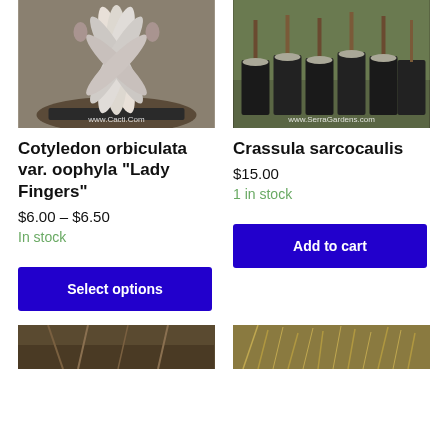[Figure (photo): Close-up photo of a Cotyledon orbiculata var. oophyla succulent with elongated white/silver-pink leaves in a dark pot, with watermark www.Cacti.Com]
[Figure (photo): Photo of multiple Crassula sarcocaulis plants in black nursery pots outdoors, with watermark www.SerraGardens.com]
Cotyledon orbiculata var. oophyla "Lady Fingers"
Crassula sarcocaulis
$6.00 – $6.50
$15.00
In stock
1 in stock
Select options
Add to cart
[Figure (photo): Partial bottom-left photo, appears to show plant roots or ground material]
[Figure (photo): Partial bottom-right photo, appears to show dry grass or straw-like plant material]